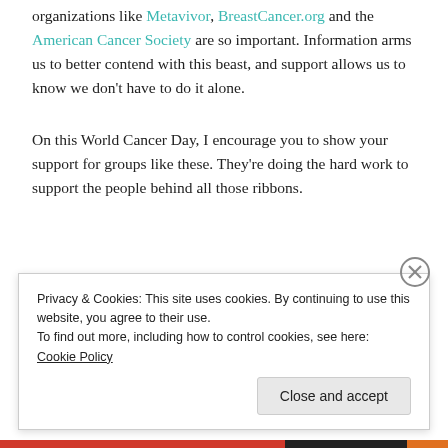organizations like Metavivor, BreastCancer.org and the American Cancer Society are so important. Information arms us to better contend with this beast, and support allows us to know we don't have to do it alone.
On this World Cancer Day, I encourage you to show your support for groups like these. They're doing the hard work to support the people behind all those ribbons.
Privacy & Cookies: This site uses cookies. By continuing to use this website, you agree to their use. To find out more, including how to control cookies, see here: Cookie Policy
Close and accept